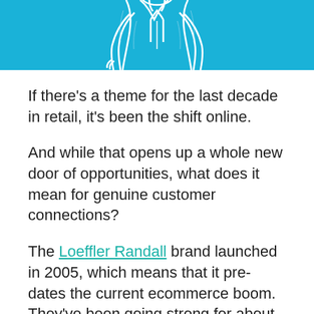[Figure (illustration): Partial view of an illustrated figure/person sketch on a blue background, cropped at top of page]
If there's a theme for the last decade in retail, it's been the shift online.
And while that opens up a whole new door of opportunities, what does it mean for genuine customer connections?
The Loeffler Randall brand launched in 2005, which means that it pre-dates the current ecommerce boom. They've been going strong for about sixteen years now, and they've seen the playbook for fashion brands shift again and